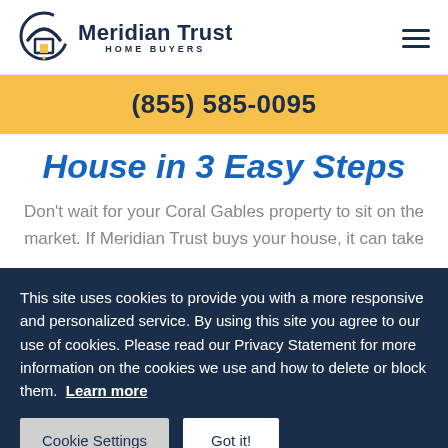[Figure (logo): Meridian Trust Home Buyers logo with house/arch icon and company name]
(855) 585-0095
House in 3 Easy Steps
Don't wait for your Coral Gables property to sit on the market. If Meridian Trust buys your house, it can take
This site uses cookies to provide you with a more responsive and personalized service. By using this site you agree to our use of cookies. Please read our Privacy Statement for more information on the cookies we use and how to delete or block them. Learn more